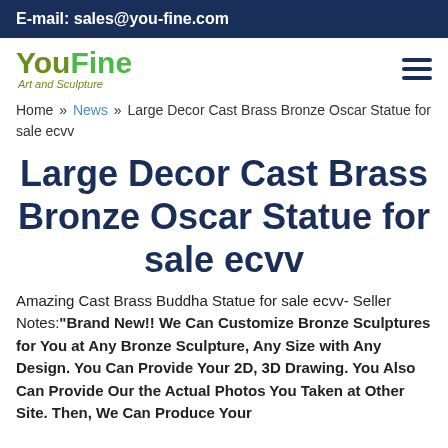E-mail: sales@you-fine.com
[Figure (logo): YouFine Art and Sculpture logo with hamburger menu icon]
Home » News » Large Decor Cast Brass Bronze Oscar Statue for sale ecvv
Large Decor Cast Brass Bronze Oscar Statue for sale ecvv
Amazing Cast Brass Buddha Statue for sale ecvv- Seller Notes:"Brand New!! We Can Customize Bronze Sculptures for You at Any Bronze Sculpture, Any Size with Any Design. You Can Provide Your 2D, 3D Drawing. You Also Can Provide Our the Actual Photos You Taken at Other Site. Then, We Can Produce Your